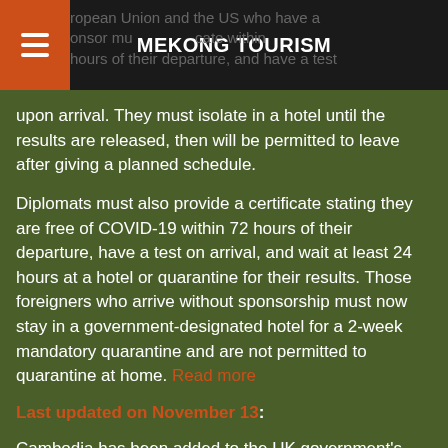MEKONG TOURISM
upon arrival. They must isolate in a hotel until the results are released, then will be permitted to leave after giving a planned schedule.
Diplomats must also provide a certificate stating they are free of COVID-19 within 72 hours of their departure, have a test on arrival, and wait at least 24 hours at a hotel or quarantine for their results. Those foreigners who arrive without sponsorship must now stay in a government-designated hotel for a 2-week mandatory quarantine and are not permitted to quarantine at home. Read more
Last updated on November 13:
Cambodia has been added to the UK government's travel corridor list. Read more